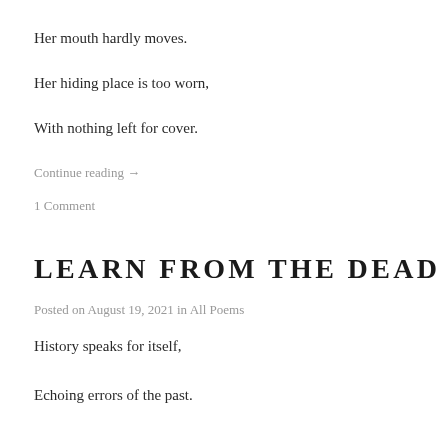Her mouth hardly moves.
Her hiding place is too worn,
With nothing left for cover.
Continue reading →
1 Comment
LEARN FROM THE DEAD
Posted on August 19, 2021 in All Poems
History speaks for itself,
Echoing errors of the past.